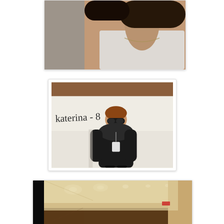[Figure (photo): Cropped photo showing the neck and upper chest area of a woman wearing a white top, with dark hair visible, appears to be a close-up portrait photo taken indoors]
[Figure (photo): Photo of a person (Katerina-8) wearing black oversized coat/fur jacket and large dark sunglasses, standing in front of a whiteboard with handwritten text 'Katerina-8', appears to be a casting or model card photo]
[Figure (photo): Interior photo of a hallway or corridor with ceiling lights illuminating the space, warm beige/cream colored walls and ceiling with recessed lighting visible]